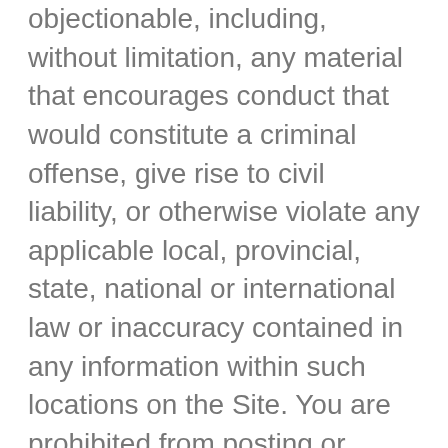objectionable, including, without limitation, any material that encourages conduct that would constitute a criminal offense, give rise to civil liability, or otherwise violate any applicable local, provincial, state, national or international law or inaccuracy contained in any information within such locations on the Site. You are prohibited from posting or transmitting any unlawful, threatening, libelous, defamatory, obscene, scandalous, inflammatory, pornographic, profane, danger, threatening, abusive, harassing, vulgar, hateful, racially, ethnically, disputatiously, argumentatively or otherwise objectionable, including, without limitation, any material that encourages conduct that would constitute a criminal offense, give rise to civil